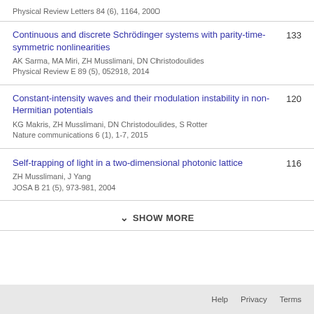Physical Review Letters 84 (6), 1164, 2000
Continuous and discrete Schrödinger systems with parity-time-symmetric nonlinearities
AK Sarma, MA Miri, ZH Musslimani, DN Christodoulides
Physical Review E 89 (5), 052918, 2014
133
Constant-intensity waves and their modulation instability in non-Hermitian potentials
KG Makris, ZH Musslimani, DN Christodoulides, S Rotter
Nature communications 6 (1), 1-7, 2015
120
Self-trapping of light in a two-dimensional photonic lattice
ZH Musslimani, J Yang
JOSA B 21 (5), 973-981, 2004
116
SHOW MORE
Help  Privacy  Terms